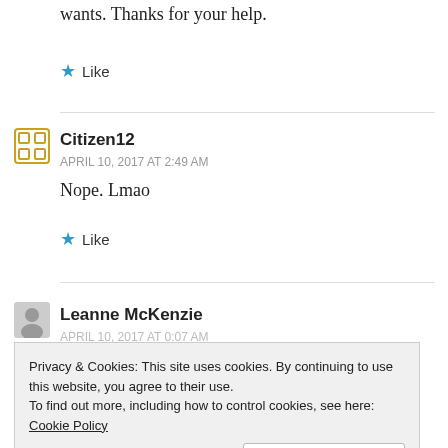wants. Thanks for your help.
Like
Citizen12
APRIL 10, 2017 AT 2:49 AM
Nope. Lmao
Like
Leanne McKenzie
APRIL 10, 2017 AT 0:07 AM
Privacy & Cookies: This site uses cookies. By continuing to use this website, you agree to their use.
To find out more, including how to control cookies, see here: Cookie Policy
Close and accept